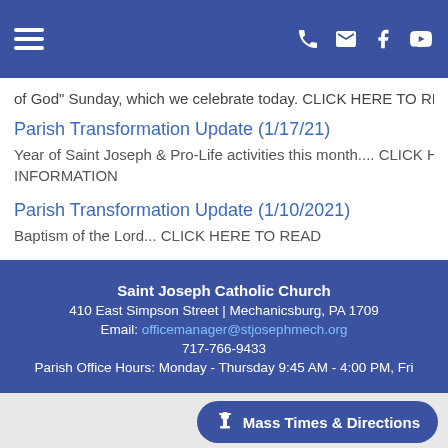Navigation bar with hamburger menu and icons (phone, email, facebook, youtube)
of God" Sunday, which we celebrate today. CLICK HERE TO READ M
Parish Transformation Update (1/17/21)
Year of Saint Joseph & Pro-Life activities this month.... CLICK HERE INFORMATION
Parish Transformation Update (1/10/2021)
Baptism of the Lord... CLICK HERE TO READ
Saint Joseph Catholic Church
410 East Simpson Street | Mechanicsburg, PA 1709
Email: officemanager@stjosephmech.org
717-766-9433
Parish Office Hours: Monday - Thursday 9:45 AM - 4:00 PM, Fri